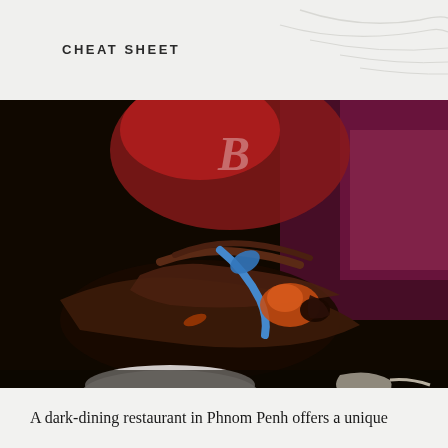CHEAT SHEET
[Figure (photo): Dark close-up photograph of a person's hands holding a blue-handled utensil and food items on a plate, with blurred red and purple background lighting. A white bowl and yellow plate are visible in the foreground.]
DINING IN THE DARK
A dark-dining restaurant in Phnom Penh offers a unique